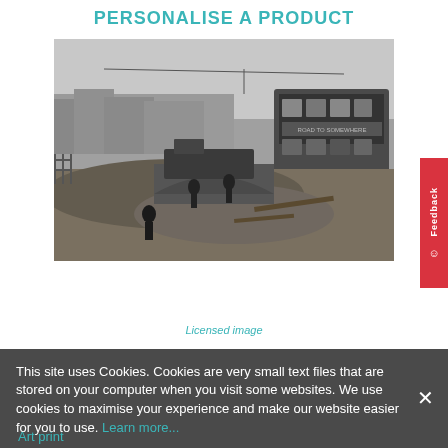PERSONALISE A PRODUCT
[Figure (photo): Black and white historical photograph showing construction or road work scene with a double-decker bus visible on the right, workers and machinery in a muddy excavation, with industrial buildings in the background]
Licensed image
This site uses Cookies. Cookies are very small text files that are stored on your computer when you visit some websites. We use cookies to maximise your experience and make our website easier for you to use. Learn more...
Art print